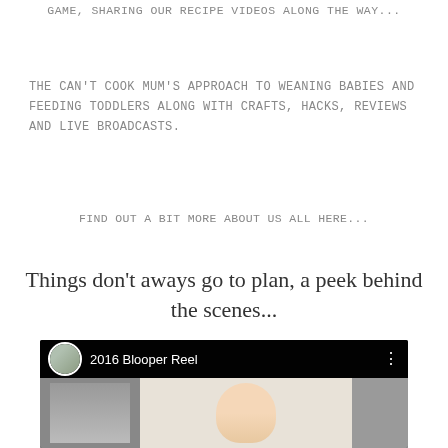GAME, SHARING OUR RECIPE VIDEOS ALONG THE WAY...
The can't cook mum's approach to weaning babies and feeding toddlers along with crafts, hacks, reviews and LIVE broadcasts.
Find out a bit more about us all here...
Things don't aways go to plan, a peek behind the scenes...
[Figure (screenshot): YouTube video thumbnail showing '2016 Blooper Reel' with a channel avatar, title text, and a preview image of a woman in a kitchen.]